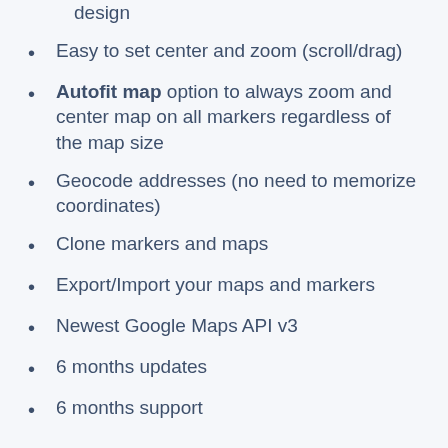design
Easy to set center and zoom (scroll/drag)
Autofit map option to always zoom and center map on all markers regardless of the map size
Geocode addresses (no need to memorize coordinates)
Clone markers and maps
Export/Import your maps and markers
Newest Google Maps API v3
6 months updates
6 months support
Add maps with custom styles and